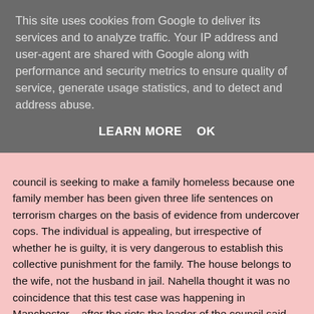This site uses cookies from Google to deliver its services and to analyze traffic. Your IP address and user-agent are shared with Google along with performance and security metrics to ensure quality of service, generate usage statistics, and to detect and address abuse.
LEARN MORE    OK
council is seeking to make a family homeless because one family member has been given three life sentences on terrorism charges on the basis of evidence from undercover cops. The individual is appealing, but irrespective of whether he is guilty, it is very dangerous to establish this collective punishment for the family. The house belongs to the wife, not the husband in jail. Nahella thought it was no coincidence that this test case was happening in Manchester – after the riots the leader of the council said that the families of rioters should lose their homes. If this approach stands, which protester or trade unionist will be next to have their family made homeless? It is easy to target Muslims in the current climate, but we should all speak out.